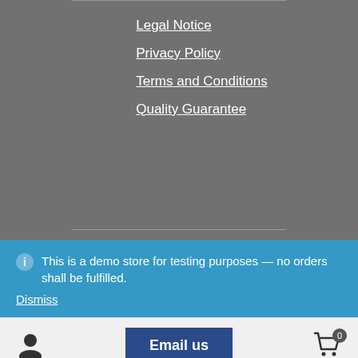Legal Notice
Privacy Policy
Terms and Conditions
Quality Guarantee
This is a demo store for testing purposes — no orders shall be fulfilled.
Dismiss
Email us